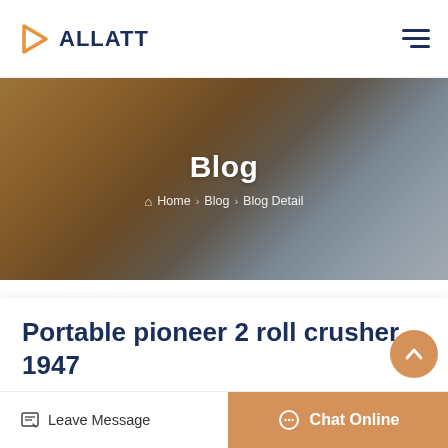ALLATT
[Figure (photo): Hero banner image with blurred background showing a person holding something, warm earthy tones]
Blog
Home > Blog > Blog Detail
Portable pioneer 2 roll crusher 1947
pioneer roller rock crusher. Our trackmounted jaw plants are built for maximum production and mobility
Leave Message  Chat Online